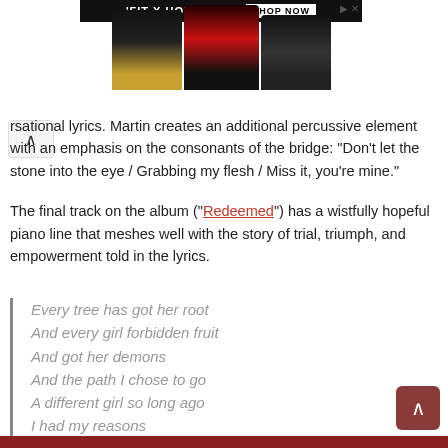[Figure (photo): Advertisement banner for 'FIT X HOT TOPIC' with three celebrity figures and a SHOP NOW button]
rsational lyrics. Martin creates an additional percussive element with an emphasis on the consonants of the bridge: "Don't let the stone into the eye / Grabbing my flesh / Miss it, you're mine."
The final track on the album ("Redeemed") has a wistfully hopeful piano line that meshes well with the story of trial, triumph, and empowerment told in the lyrics.
Every tree has got her root
And every girl forbidden fruit
And got her demons
And the path I chose to go
A different girl so long ago
I had my reasons